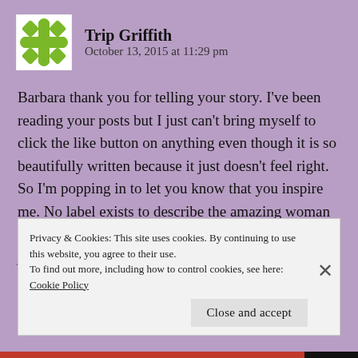[Figure (logo): Green decorative avatar icon with cross/fleur pattern on white background]
Trip Griffith
October 13, 2015 at 11:29 pm
Barbara thank you for telling your story. I've been reading your posts but I just can't bring myself to click the like button on anything even though it is so beautifully written because it just doesn't feel right. So I'm popping in to let you know that you inspire me. No label exists to describe the amazing woman you have become. Thank you for sharing your journey with me.
Privacy & Cookies: This site uses cookies. By continuing to use this website, you agree to their use.
To find out more, including how to control cookies, see here: Cookie Policy
Close and accept